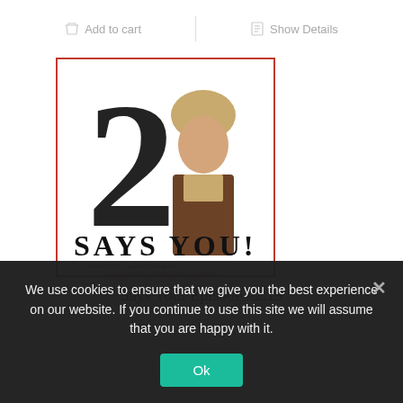Add to cart
Show Details
[Figure (photo): Says You! Episode #2.19 album art showing a large numeral 2 with a person behind it, and text 'SAYS YOU!' and subtitle 'a public radio game show of bluff and bluster, words and whimsy']
Says You! Episode #2.19
We use cookies to ensure that we give you the best experience on our website. If you continue to use this site we will assume that you are happy with it.
Ok